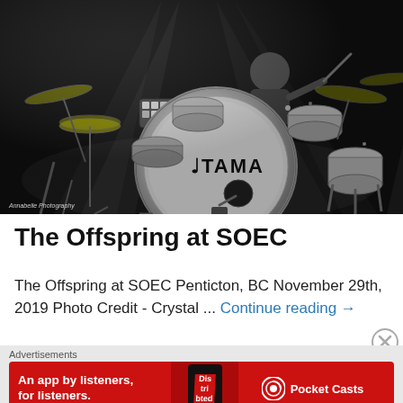[Figure (photo): Black and white concert photo of a drummer playing a TAMA drum kit on stage with dramatic stage lighting and light beams. The bass drum prominently shows the TAMA logo.]
Annabelle Photography
The Offspring at SOEC
The Offspring at SOEC Penticton, BC November 29th, 2019 Photo Credit - Crystal ... Continue reading →